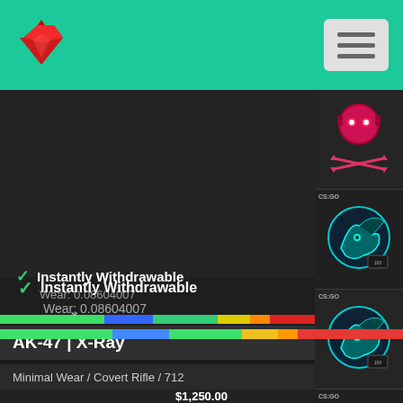[Figure (logo): Red gem/diamond shaped logo icon in top left of green navbar]
[Figure (screenshot): Hamburger menu button, three horizontal lines, light gray background, top right corner]
[Figure (illustration): Sidebar with 4 CS:GO item thumbnails - top is a pink/red character with headset, below are 3 cyan dragon sticker items]
✓ Instantly Withdrawable
Wear: 0.08604007
AK-47 | X-Ray
Minimal Wear / Covert Rifle / 712
$1,250.00
Suggested Price: $855.60